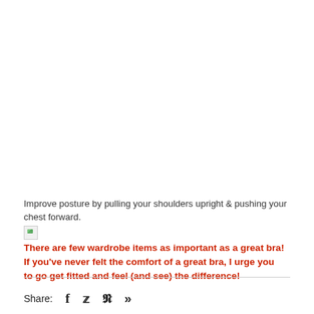Improve posture by pulling your shoulders upright & pushing your chest forward.
[Figure (illustration): Small broken/placeholder image icon]
There are few wardrobe items as important as a great bra! If you've never felt the comfort of a great bra, I urge you to go get fitted and feel (and see) the difference!
Share: [Facebook icon] [Twitter icon] [Pinterest icon] [More/chevron icon]